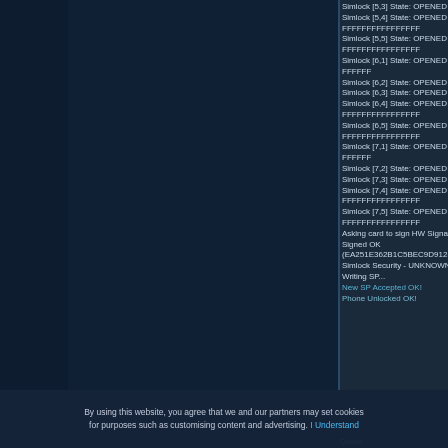Simlock [5,3] State: OPENED Type: GID Data:
Simlock [5,4] State: OPENED Type: IMSI Data: FFFFFFFFFFFFFFFF
Simlock [5,5] State: OPENED Type: IMSI Data: FFFFFFFFFFFFFFFF
Simlock [6,1] State: OPENED Type: MCC-MN Data: FFFFFF
Simlock [6,2] State: OPENED Type: GID Data:
Simlock [6,3] State: OPENED Type: GID Data:
Simlock [6,4] State: OPENED Type: IMSI Data: FFFFFFFFFFFFFFFF
Simlock [6,5] State: OPENED Type: IMSI Data: FFFFFFFFFFFFFFFF
Simlock [7,1] State: OPENED Type: MCC-MN Data: FFFFFF
Simlock [7,2] State: OPENED Type: GID Data:
Simlock [7,3] State: OPENED Type: GID Data:
Simlock [7,4] State: OPENED Type: IMSI Data: FFFFFFFFFFFFFFFF
Simlock [7,5] State: OPENED Type: IMSI Data: FFFFFFFFFFFFFFFF
Asking card to sign HW Signature...
Signed OK
(EA251E362B1C5BEC9D9128151B64D1917...
Simlock Security - UNKNOWN
Writing SP...
New SP Accepted OK!
Phone Unlocked OK!
By using this website, you agree that we and our partners may set cookies for purposes such as customising content and advertising. I Understand
Quote: